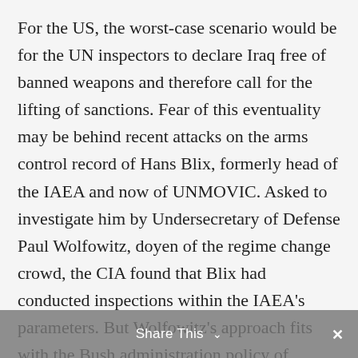For the US, the worst-case scenario would be for the UN inspectors to declare Iraq free of banned weapons and therefore call for the lifting of sanctions. Fear of this eventuality may be behind recent attacks on the arms control record of Hans Blix, formerly head of the IAEA and now of UNMOVIC. Asked to investigate him by Undersecretary of Defense Paul Wolfowitz, doyen of the regime change crowd, the CIA found that Blix had conducted inspections within the IAEA's parameters. But Wolfowitz's approach fits with the Bush administration policy of attacking or removing unwelcome chairpersons of international bodies—working on human rights, climate change or chemical
Share This ∨  ✕